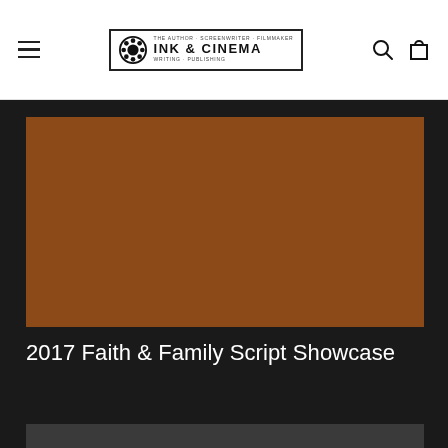Ink & Cinema - navigation header with hamburger menu, logo, search and cart icons
[Figure (illustration): Brown/sienna colored rectangular image placeholder for 2017 Faith & Family Script Showcase product image]
2017 Faith & Family Script Showcase